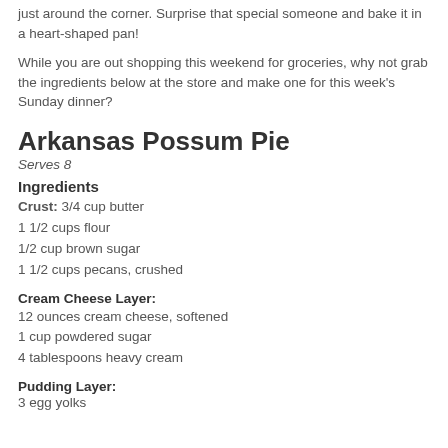just around the corner. Surprise that special someone and bake it in a heart-shaped pan!
While you are out shopping this weekend for groceries, why not grab the ingredients below at the store and make one for this week's Sunday dinner?
Arkansas Possum Pie
Serves 8
Ingredients
Crust: 3/4 cup butter
1 1/2 cups flour
1/2 cup brown sugar
1 1/2 cups pecans, crushed
Cream Cheese Layer:
12 ounces cream cheese, softened
1 cup powdered sugar
4 tablespoons heavy cream
Pudding Layer:
3 egg yolks